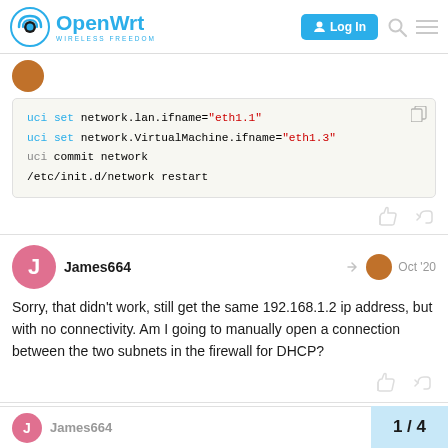OpenWrt - WIRELESS FREEDOM | Log In
[Figure (screenshot): Code block showing UCI network commands: uci set network.lan.ifname="eth1.1", uci set network.VirtualMachine.ifname="eth1.3", uci commit network, /etc/init.d/network restart]
Sorry, that didn't work, still get the same 192.168.1.2 ip address, but with no connectivity. Am I going to manually open a connection between the two subnets in the firewall for DHCP?
James664 Oct '20
1 / 4